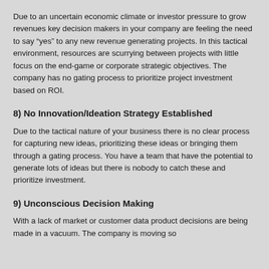Due to an uncertain economic climate or investor pressure to grow revenues key decision makers in your company are feeling the need to say “yes” to any new revenue generating projects. In this tactical environment, resources are scurrying between projects with little focus on the end-game or corporate strategic objectives. The company has no gating process to prioritize project investment based on ROI.
8) No Innovation/Ideation Strategy Established
Due to the tactical nature of your business there is no clear process for capturing new ideas, prioritizing these ideas or bringing them through a gating process. You have a team that have the potential to generate lots of ideas but there is nobody to catch these and prioritize investment.
9) Unconscious Decision Making
With a lack of market or customer data product decisions are being made in a vacuum. The company is moving so